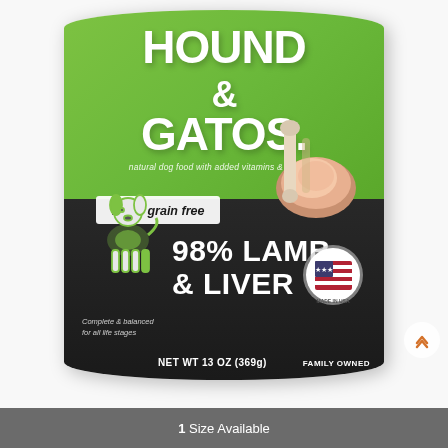[Figure (photo): Hound & Gatos 98% Lamb & Liver canned dog food. Green and dark label with brand name, dog illustration, lamb chop image, Made in USA badge, 100% grain free banner. NET WT 13 OZ (369g). Complete & balanced for all life stages. Family Owned.]
1 Size Available